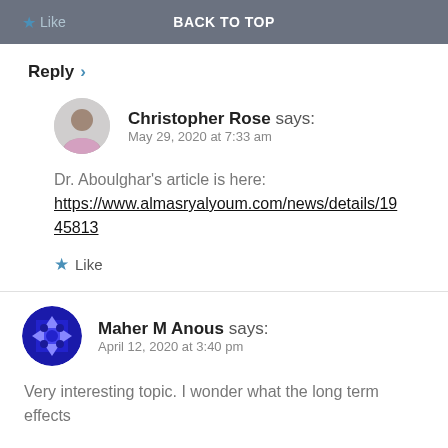Like  BACK TO TOP
Reply >
Christopher Rose says: May 29, 2020 at 7:33 am
Dr. Aboulghar's article is here: https://www.almasryalyoum.com/news/details/1945813
Like
Maher M Anous says: April 12, 2020 at 3:40 pm
Very interesting topic. I wonder what the long term effects